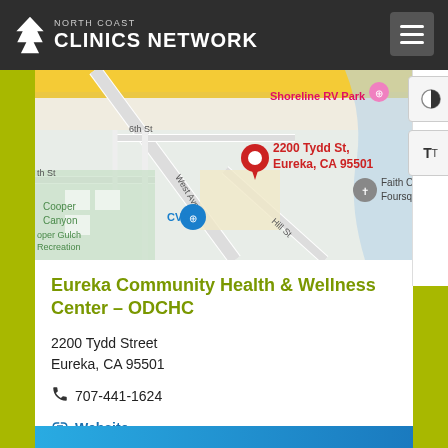North Coast Clinics Network
[Figure (map): Google Maps view showing location pin at 2200 Tydd St, Eureka, CA 95501. Map shows West Ave, 6th St, Hill St, Cooper Canyon, Shoreline RV Park, CVS, and Faith Center Foursquare landmarks.]
Eureka Community Health & Wellness Center – ODCHC
2200 Tydd Street
Eureka, CA 95501
707-441-1624
Website